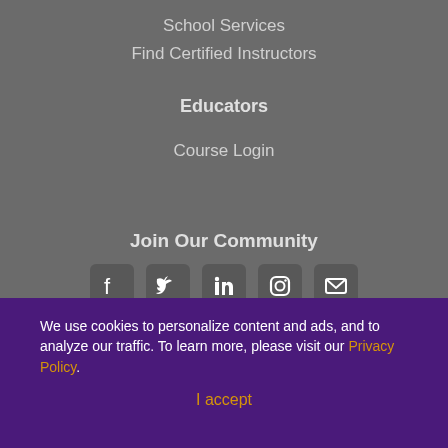School Services
Find Certified Instructors
Educators
Course Login
Join Our Community
[Figure (infographic): Row of five social media icons: Facebook, Twitter, LinkedIn, Instagram, Email]
We use cookies to personalize content and ads, and to analyze our traffic. To learn more, please visit our Privacy Policy.
I accept